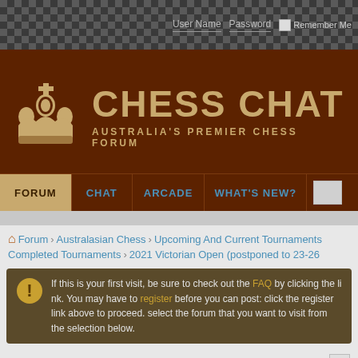User Name  Password  Remember Me
[Figure (logo): Chess Chat logo with crown icon and site title CHESS CHAT - AUSTRALIA'S PREMIER CHESS FORUM on dark brown background]
FORUM  CHAT  ARCADE  WHAT'S NEW?
Forum  Australasian Chess  Upcoming And Current Tournaments  Completed Tournaments  2021 Victorian Open (postponed to 23-26...
If this is your first visit, be sure to check out the FAQ by clicking the link. You may have to register before you can post: click the register link above to proceed. To start viewing messages, select the forum that you want to visit from the selection below.
Results 1 to 15 of 30
THREAD: 2021 VICTORIAN OPEN (POSTPONED T...